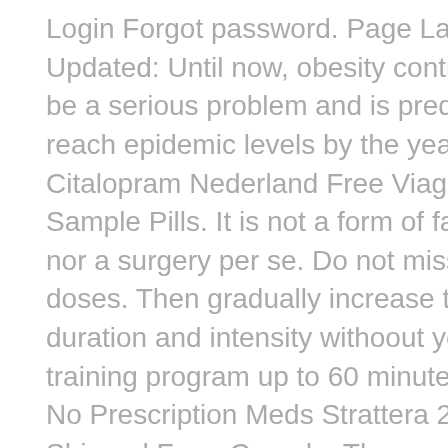Login Forgot password. Page Last Updated: Until now, obesity continues to be a serious problem and is predicted to reach epidemic levels by the year Buy Citalopram Nederland Free Viagra Sample Pills. It is not a form of facelift nor a surgery per se. Do not miss any doses. Then gradually increase the duration and intensity withoout your training program up to 60 minutes a day No Prescription Meds Strattera 25 Mg Shipped From Canada. They may feel that you need treatment or therapy, and